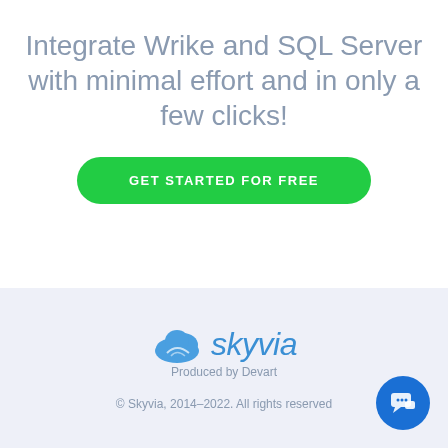Integrate Wrike and SQL Server with minimal effort and in only a few clicks!
GET STARTED FOR FREE
[Figure (logo): Skyvia cloud logo with cloud icon and text 'skyvia' in blue, 'Produced by Devart' subtitle]
© Skyvia, 2014–2022. All rights reserved